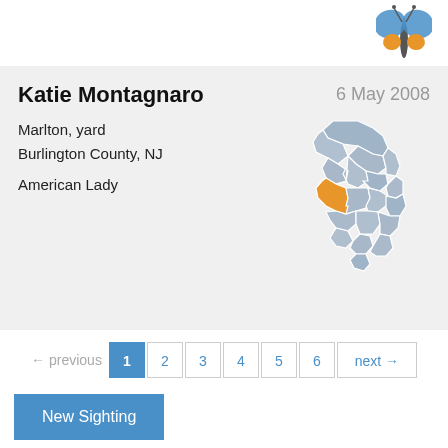[Figure (illustration): Orange and blue butterfly icon at top right]
Katie Montagnaro
6 May 2008
Marlton, yard
Burlington County, NJ
American Lady
[Figure (map): Map of New Jersey with Burlington County highlighted in orange]
← previous  1  2  3  4  5  6  next →
New Sighting
← Recent sightings
About these sightings
Read our blog
Sighting archive